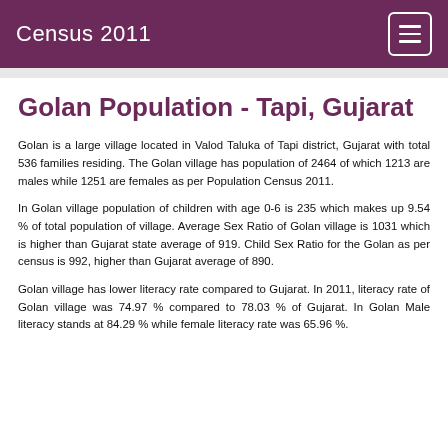Census 2011
Golan Population - Tapi, Gujarat
Golan is a large village located in Valod Taluka of Tapi district, Gujarat with total 536 families residing. The Golan village has population of 2464 of which 1213 are males while 1251 are females as per Population Census 2011.
In Golan village population of children with age 0-6 is 235 which makes up 9.54 % of total population of village. Average Sex Ratio of Golan village is 1031 which is higher than Gujarat state average of 919. Child Sex Ratio for the Golan as per census is 992, higher than Gujarat average of 890.
Golan village has lower literacy rate compared to Gujarat. In 2011, literacy rate of Golan village was 74.97 % compared to 78.03 % of Gujarat. In Golan Male literacy stands at 84.29 % while female literacy rate was 65.96 %.